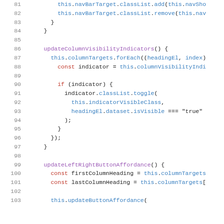[Figure (screenshot): Source code screenshot showing JavaScript class methods with line numbers 81-103, displaying code for updateColumnVisibilityIndicators and updateLeftRightButtonAffordance methods with syntax highlighting.]